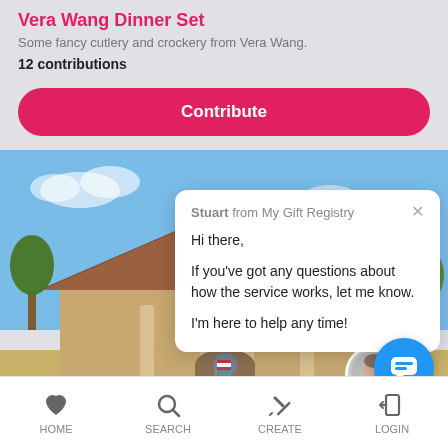Vera Wang Dinner Set
Some fancy cutlery and crockery from Vera Wang.
12 contributions
Contribute
[Figure (screenshot): House photo with blue sky background, showing a tiled roof house]
Stuart from My Gift Registry
Hi there,
If you've got any questions about how the service works, let me know.
I'm here to help any time!
HOME   SEARCH   CREATE   LOGIN